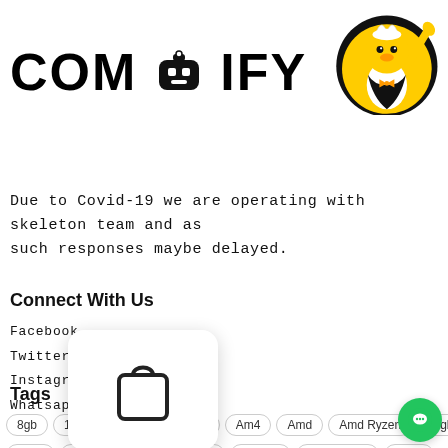[Figure (logo): Compify logo with bold stylized text 'COMPIFY' and a cartoon robot-bird mascot character in yellow circle on the right]
Due to Covid-19 we are operating with skeleton team and as such responses maybe delayed.
Connect With Us
Facebook
Twitter
Instagram
Whatsapp
Tags
8gb  120mm  1080p  Aio  Am4  Amd  Amd Ryzen  Argb
Asus  Cabinet  Cooler Master  Corsair  Cpu Cooler  Cuda